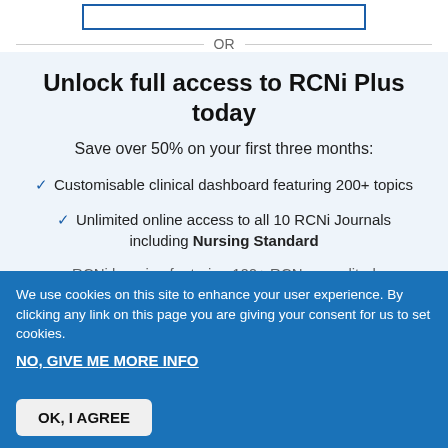OR
Unlock full access to RCNi Plus today
Save over 50% on your first three months:
Customisable clinical dashboard featuring 200+ topics
Unlimited online access to all 10 RCNi Journals including Nursing Standard
RCNi learning featuring 100+ RCN accredited...
We use cookies on this site to enhance your user experience. By clicking any link on this page you are giving your consent for us to set cookies.
NO, GIVE ME MORE INFO
OK, I AGREE